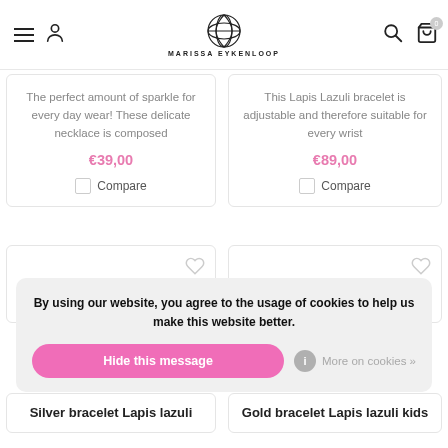Marissa Eykenloop — navigation header with hamburger menu, account icon, logo, search, and cart (0)
The perfect amount of sparkle for every day wear! These delicate necklace is composed
€39,00
Compare
This Lapis Lazuli bracelet is adjustable and therefore suitable for every wrist
€89,00
Compare
By using our website, you agree to the usage of cookies to help us make this website better.
Hide this message
More on cookies »
Silver bracelet Lapis lazuli
Gold bracelet Lapis lazuli kids